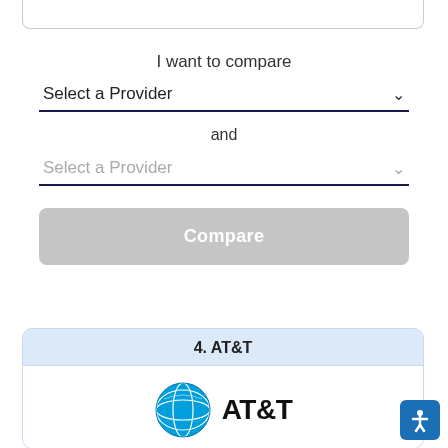I want to compare
Select a Provider
and
Select a Provider
Compare
4. AT&T
[Figure (logo): AT&T logo: blue globe icon with AT&T text in bold black]